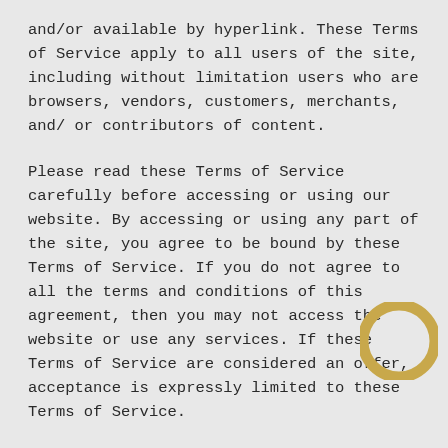and/or available by hyperlink. These Terms of Service apply to all users of the site, including without limitation users who are browsers, vendors, customers, merchants, and/ or contributors of content.
Please read these Terms of Service carefully before accessing or using our website. By accessing or using any part of the site, you agree to be bound by these Terms of Service. If you do not agree to all the terms and conditions of this agreement, then you may not access the website or use any services. If these Terms of Service are considered an offer, acceptance is expressly limited to these Terms of Service.
Any new features or tools which are added to the current store shall also be subject to the Terms of Service. You can review the most current version of the Terms of Service at any time page. We reserve the right to update, change or replace a f these Terms of Service by posting updates and/or changes to our website. It is your responsibility to check this page periodically for